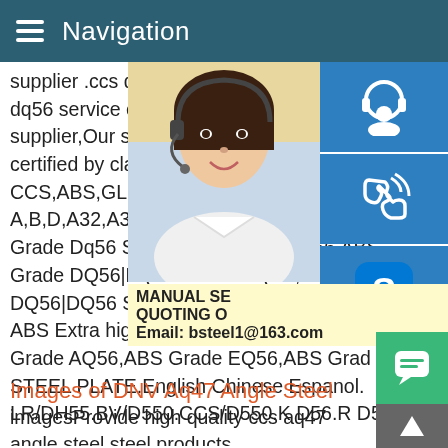Navigation
supplier .ccs dq56 in china AISI Steel Hot dq56 service export A36 Plate A36 Steel.C supplier,Our steel section for shipbuilding certified by classification societies such as CCS,ABS,GL,LR,DNV,BV,NK,KR,RINA ar A,B,D,A32,A36 D32 and DH36 shipbuildin Grade Dq56 Steel Plate imagesDQ56,ABS Grade DQ56|DQ56 STEELDQ56,ABS DQ DQ56|DQ56 STEEL PLATE BBNSTEEL is ABS Extra high strength steel plate in ABS Grade AQ56,ABS Grade EQ56,ABS Grade (... STEEL PLATE.English Chinese Espanol. LR/DH55.BV/D550.CCS/D550.K D56.R D56.RI/D550
[Figure (photo): Woman with headset customer service photo with blue sidebar icons (headset, phone, Skype) and yellow bar with MANUAL SE, QUOTING O, Email: bsteel1@163.com]
Images of DNV Aq47 Angle Steel
imagesProvide high quality ccs aq47 angle steel steel products